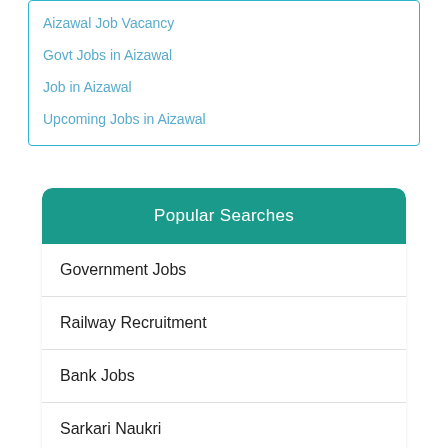Aizawal Job Vacancy
Govt Jobs in Aizawal
Job in Aizawal
Upcoming Jobs in Aizawal
Popular Searches
Government Jobs
Railway Recruitment
Bank Jobs
Sarkari Naukri
Sarkari Result